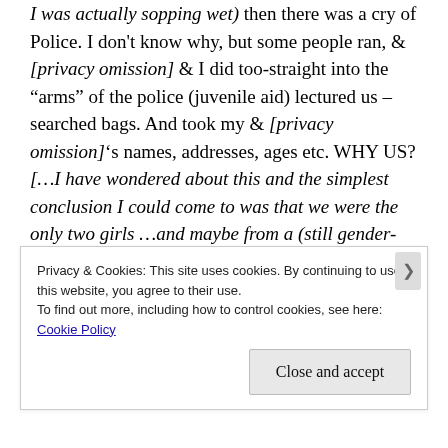I was actually sopping wet) then there was a cry of Police. I don't know why, but some people ran, & [privacy omission] & I did too-straight into the "arms" of the police (juvenile aid) lectured us – searched bags. And took my & [privacy omission]'s names, addresses, ages etc. WHY US? [...I have wondered about this and the simplest conclusion I could come to was that we were the only two girls ...and maybe from a (still gender-biased point of view) they were more concerned with our safety, amongst a group of boys ...if you catch my drift? But I am purely speculating...] We were going to leave, but went back. [Privacy omission] left with Jay & I rang mum to
Privacy & Cookies: This site uses cookies. By continuing to use this website, you agree to their use.
To find out more, including how to control cookies, see here:
Cookie Policy
Close and accept